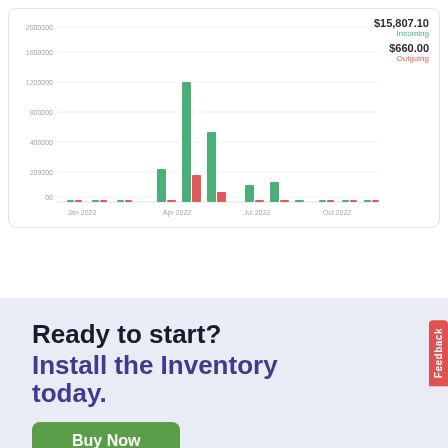[Figure (grouped-bar-chart): Incoming/Outgoing chart]
$15,807.10 Incoming
$660.00 Outgoing
Ready to start?
Install the Inventory today.
Buy Now